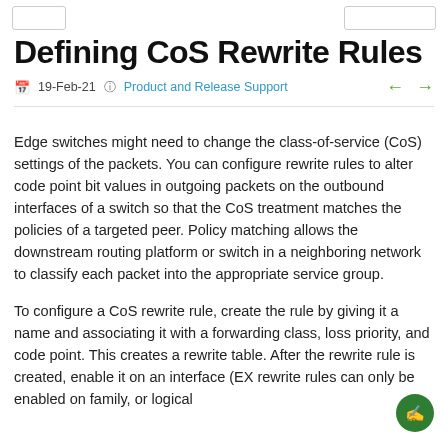Defining CoS Rewrite Rules
19-Feb-21  Product and Release Support
Edge switches might need to change the class-of-service (CoS) settings of the packets. You can configure rewrite rules to alter code point bit values in outgoing packets on the outbound interfaces of a switch so that the CoS treatment matches the policies of a targeted peer. Policy matching allows the downstream routing platform or switch in a neighboring network to classify each packet into the appropriate service group.
To configure a CoS rewrite rule, create the rule by giving it a name and associating it with a forwarding class, loss priority, and code point. This creates a rewrite table. After the rewrite rule is created, enable it on an interface (EX rewrite rules can only be enabled on family, or logical